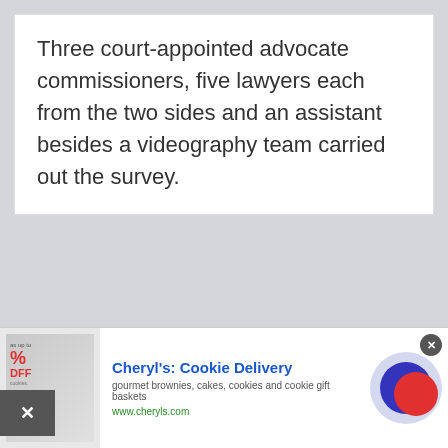Three court-appointed advocate commissioners, five lawyers each from the two sides and an assistant besides a videography team carried out the survey.
[Figure (screenshot): Advertisement banner for Cheryl's Cookie Delivery showing a close button (X), a product image with sale tag, ad title, description, URL, and a navigation arrow button.]